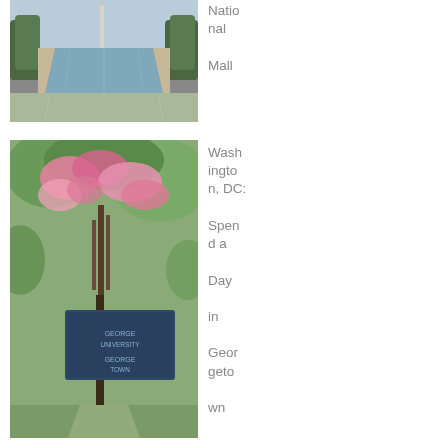[Figure (photo): Aerial/ground-level photo of the National Mall reflecting pool with a monument visible in the distance, flanked by trees and a path.]
National Mall
[Figure (photo): Photo of a Georgetown University street sign surrounded by pink flowering crepe myrtle trees.]
Washington, DC: Spend a Day in Georgetown